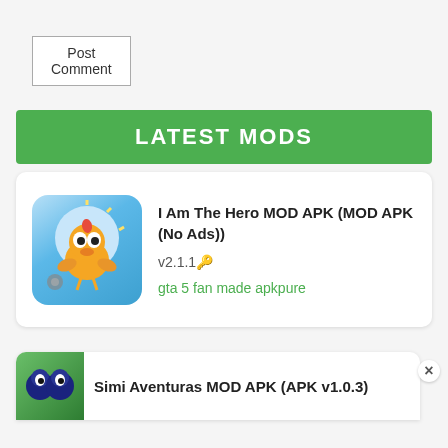Post Comment
LATEST MODS
I Am The Hero MOD APK (MOD APK (No Ads))
v2.1.1🔑
gta 5 fan made apkpure
Simi Aventuras MOD APK (APK v1.0.3)